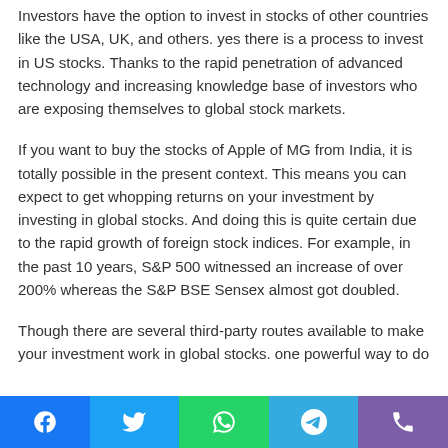Investors have the option to invest in stocks of other countries like the USA, UK, and others. yes there is a process to invest in US stocks. Thanks to the rapid penetration of advanced technology and increasing knowledge base of investors who are exposing themselves to global stock markets.
If you want to buy the stocks of Apple of MG from India, it is totally possible in the present context. This means you can expect to get whopping returns on your investment by investing in global stocks. And doing this is quite certain due to the rapid growth of foreign stock indices. For example, in the past 10 years, S&P 500 witnessed an increase of over 200% whereas the S&P BSE Sensex almost got doubled.
Though there are several third-party routes available to make your investment work in global stocks. one powerful way to do